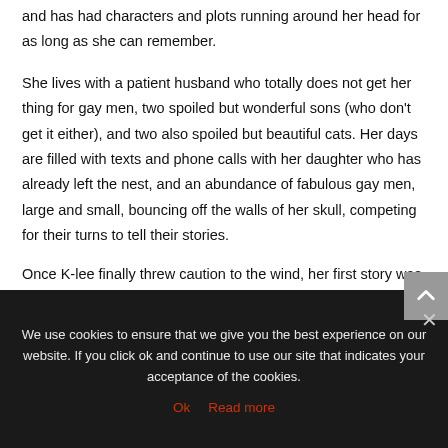and has had characters and plots running around her head for as long as she can remember.
She lives with a patient husband who totally does not get her thing for gay men, two spoiled but wonderful sons (who don't get it either), and two also spoiled but beautiful cats. Her days are filled with texts and phone calls with her daughter who has already left the nest, and an abundance of fabulous gay men, large and small, bouncing off the walls of her skull, competing for their turns to tell their stories.
Once K-lee finally threw caution to the wind, her first story was accepted and published in December of 2011, and since then
We use cookies to ensure that we give you the best experience on our website. If you click ok and continue to use our site that indicates your acceptance of the cookies.